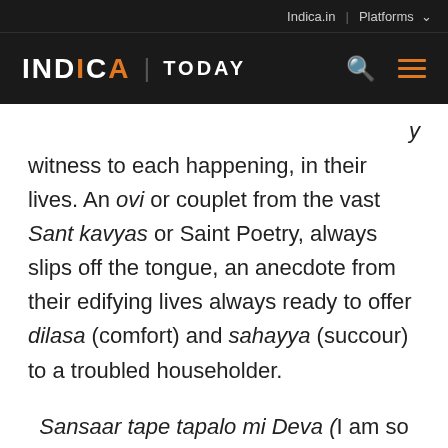Indica.in | Platforms
INDICA | TODAY
witness to each happening, in their lives. An ovi or couplet from the vast Sant kavyas or Saint Poetry, always slips off the tongue, an anecdote from their edifying lives always ready to offer dilasa (comfort) and sahayya (succour) to a troubled householder.
Sansaar tape tapalo mi Deva (I am so beleaguered by life, of a householder)